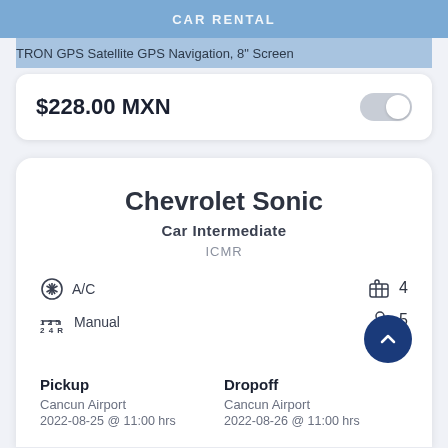CAR RENTAL
TRON GPS Satellite GPS Navigation, 8" Screen
$228.00 MXN
Chevrolet Sonic
Car Intermediate
ICMR
A/C
Manual
4 (luggage)
5 (passengers)
Pickup
Cancun Airport
2022-08-25 @ 11:00 hrs
Dropoff
Cancun Airport
2022-08-26 @ 11:00 hrs